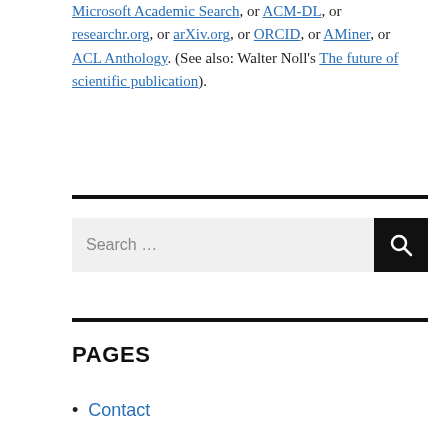Microsoft Academic Search, or ACM-DL, or researchr.org, or arXiv.org, or ORCID, or AMiner, or ACL Anthology. (See also: Walter Noll's The future of scientific publication).
[Figure (other): Search bar with text 'Search …' and a black search button with magnifying glass icon]
PAGES
Contact